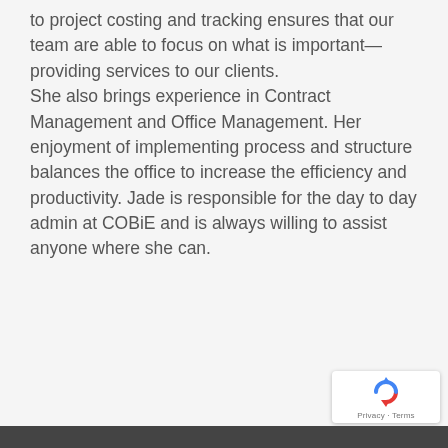to project costing and tracking ensures that our team are able to focus on what is important—providing services to our clients. She also brings experience in Contract Management and Office Management. Her enjoyment of implementing process and structure balances the office to increase the efficiency and productivity. Jade is responsible for the day to day admin at COBiE and is always willing to assist anyone where she can.
[Figure (other): reCAPTCHA badge with Google logo and Privacy · Terms text]